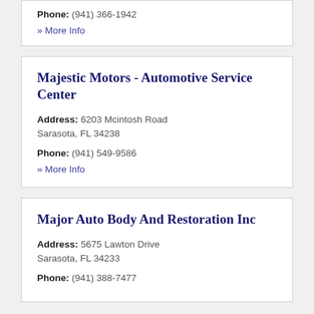Phone: (941) 366-1942
» More Info
Majestic Motors - Automotive Service Center
Address: 6203 Mcintosh Road Sarasota, FL 34238
Phone: (941) 549-9586
» More Info
Major Auto Body And Restoration Inc
Address: 5675 Lawton Drive Sarasota, FL 34233
Phone: (941) 388-7477